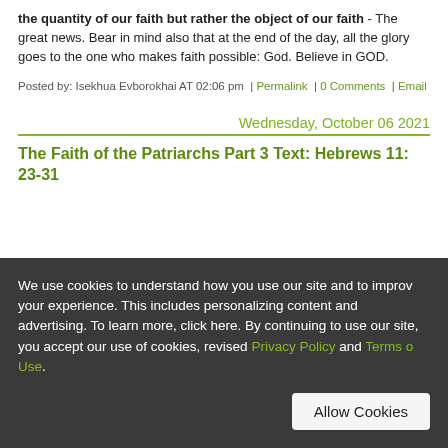the quantity of our faith but rather the object of our faith - The great news. Bear in mind also that at the end of the day, all the glory goes to the one who makes faith possible: God. Believe in GOD.
Posted by: Isekhua Evborokhai AT 02:06 pm  |  Permalink  |  0 Comments  |  Email
Wednesday, October 06 2021
The Faith of the Patriarchs Part 3 Text: Hebrews 11: 23-31
We use cookies to understand how you use our site and to improve your experience. This includes personalizing content and advertising. To learn more, click here. By continuing to use our site, you accept our use of cookies, revised Privacy Policy and Terms of Use.